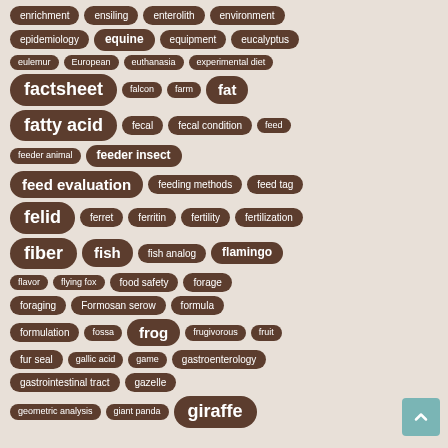[Figure (other): Tag cloud / keyword index for animal nutrition and zoology topics. Tags include: enrichment, ensiling, enterolith, environment, epidemiology, equine, equipment, eucalyptus, eulemur, European, euthanasia, experimental diet, factsheet, falcon, farm, fat, fatty acid, fecal, fecal condition, feed, feeder animal, feeder insect, feed evaluation, feeding methods, feed tag, felid, ferret, ferritin, fertility, fertilization, fiber, fish, fish analog, flamingo, flavor, flying fox, food safety, forage, foraging, Formosan serow, formula, formulation, fossa, frog, frugivorous, fruit, fur seal, gallic acid, game, gastroenterology, gastrointestinal tract, gazelle, geometric analysis, giant panda, giraffe. Tags are sized by frequency/importance with larger bold text indicating more prominent topics.]